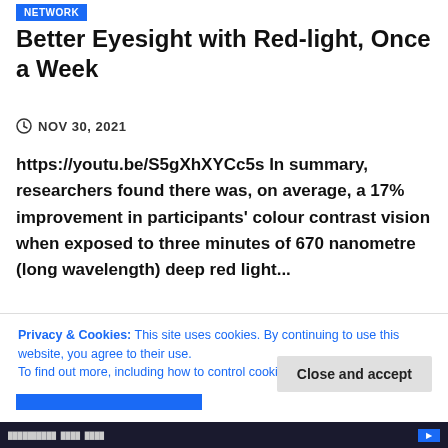NETWORK
Better Eyesight with Red-light, Once a Week
NOV 30, 2021
https://youtu.be/S5gXhXYCc5s In summary, researchers found there was, on average, a 17% improvement in participants' colour contrast vision when exposed to three minutes of 670 nanometre (long wavelength) deep red light...
Read More
Privacy & Cookies: This site uses cookies. By continuing to use this website, you agree to their use.
To find out more, including how to control cookies, see here: Cookie Policy
Close and accept